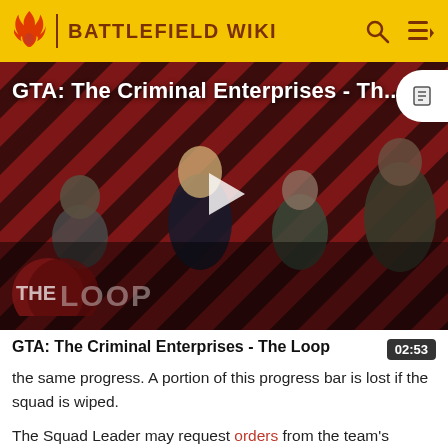BATTLEFIELD WIKI
[Figure (screenshot): Video thumbnail for GTA: The Criminal Enterprises - The Loop, showing game characters on a diagonal striped red/dark background with a play button and The Loop logo overlay]
GTA: The Criminal Enterprises - The Loop
the same progress. A portion of this progress bar is lost if the squad is wiped.
The Squad Leader may request orders from the team's